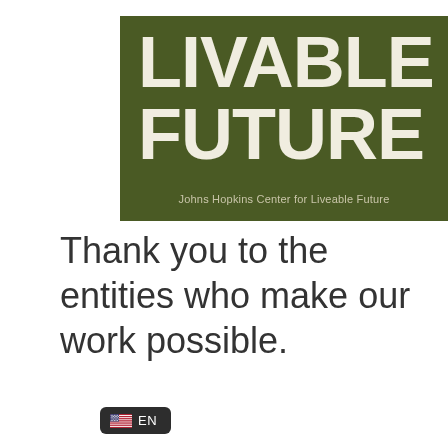[Figure (logo): Johns Hopkins Center for Liveable Future logo — dark olive green background with large white bold text 'LIVABLE FUTURE' and subtitle 'Johns Hopkins Center for Liveable Future']
Thank you to the entities who make our work possible.